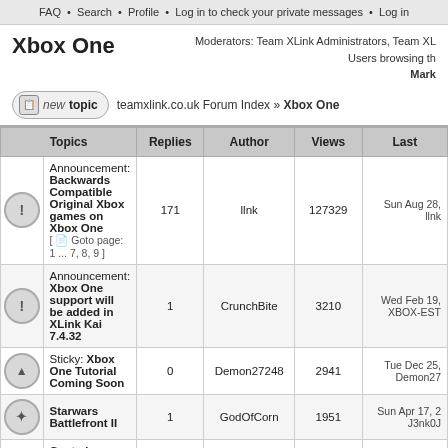FAQ · Search · Profile · Log in to check your private messages · Log in
Xbox One
Moderators: Team XLink Administrators, Team XL... Users browsing th... Mark
teamxlink.co.uk Forum Index » Xbox One
| Topics | Replies | Author | Views | Last |
| --- | --- | --- | --- | --- |
| Announcement: Backwards Compatible Original Xbox games on Xbox One [ Goto page: 1 ... 7, 8, 9 ] | 171 | llnk | 127329 | Sun Aug 28, llnk |
| Announcement: Xbox One support will be added in XLink Kai 7.4.32 | 1 | CrunchBite | 3210 | Wed Feb 19, XBOX-EST |
| Sticky: Xbox One Tutorial Coming Soon | 0 | Demon27248 | 2941 | Tue Dec 25, Demon27 |
| Starwars Battlefront II | 1 | GodOfCorn | 1951 | Sun Apr 17, J3nk0J |
| Cant play Online games on Xbox one after installing XlinkKai | 1 | MrBowtie95 | 1926 | Wed Oct 21, (KHB)xAY |
| HALO 5 LOCAL SERVER OVEr XLINK ? | 3 | [luny] | 3417 | Sun Jun 07, (KHB)xAY |
| STAR WARS Battlefront |  |  |  |  |